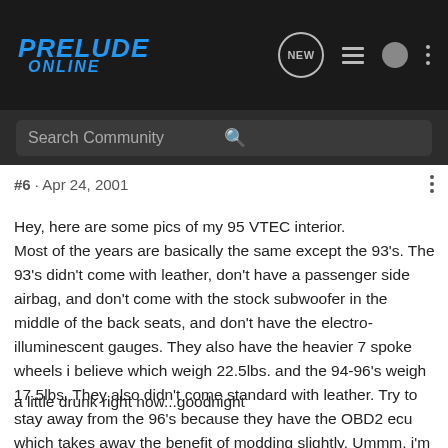[Figure (logo): Prelude Online forum logo in blue italic text on dark background with navigation icons (NEW chat bubble, list icon, user icon, dots menu)]
Search Community
#6 · Apr 24, 2001
Hey, here are some pics of my 95 VTEC interior. Most of the years are basically the same except the 93's. The 93's didn't come with leather, don't have a passenger side airbag, and don't come with the stock subwoofer in the middle of the back seats, and don't have the electro-illuminescent gauges. They also have the heavier 7 spoke wheels i believe which weigh 22.5lbs. and the 94-96's weigh 17.5lbs. They also didn't come standard with leather. Try to stay away from the 96's because they have the OBD2 ecu which takes away the benefit of modding slightly. Ummm, i'm sure there more but i'm
a little drunk right now...goodnight